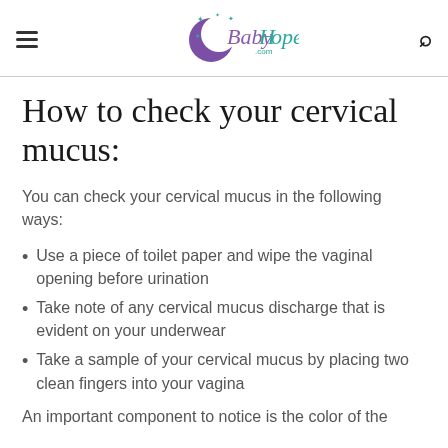BabyHopes.com
How to check your cervical mucus:
You can check your cervical mucus in the following ways:
Use a piece of toilet paper and wipe the vaginal opening before urination
Take note of any cervical mucus discharge that is evident on your underwear
Take a sample of your cervical mucus by placing two clean fingers into your vagina
An important component to notice is the color of the